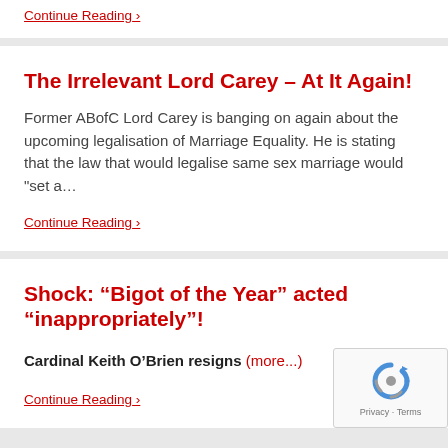Continue Reading ›
The Irrelevant Lord Carey – At It Again!
Former ABofC Lord Carey is banging on again about the upcoming legalisation of Marriage Equality. He is stating that the law that would legalise same sex marriage would "set a…
Continue Reading ›
Shock: “Bigot of the Year” acted “inappropriately”!
Cardinal Keith O’Brien resigns (more...)
Continue Reading ›